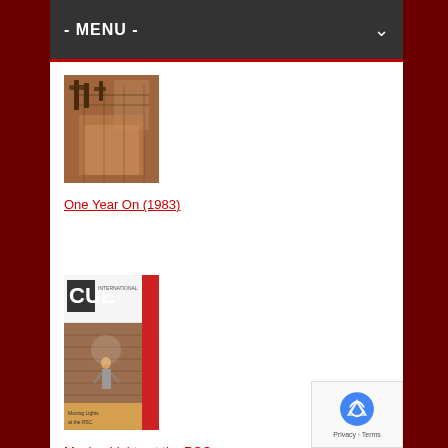- MENU -
[Figure (photo): Book cover for One Year On (1983) - showing industrial/architectural scene with reddish tones]
One Year On (1983)
[Figure (photo): Book/magazine cover for Moving Lights at the RSC (1990) - CUE magazine cover showing a figure on stage with brick wall background, red accent]
Moving Lights at the RSC (1990)